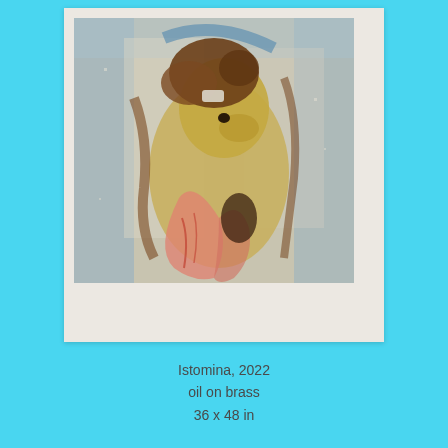[Figure (photo): An oil painting on brass depicting an abstract figure with animal-like head (possibly a doe or horse), curly hair on top, holding or merging with the form. The palette includes golden-yellow, pink, coral-red, brown, and muted blue-grey tones on a textured background. The painting is mounted on a light cream/off-white card.]
Istomina, 2022
oil on brass
36 x 48 in